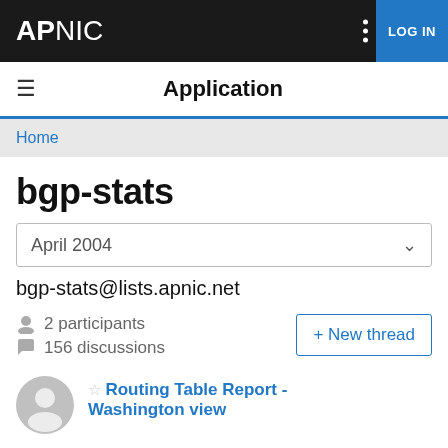APNIC — LOG IN
Application
Home
bgp-stats
April 2004
bgp-stats@lists.apnic.net
2 participants
156 discussions
+ New thread
Routing Table Report - Washington view